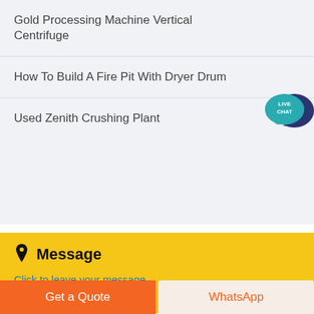Gold Processing Machine Vertical Centrifuge
How To Build A Fire Pit With Dryer Drum
Used Zenith Crushing Plant
[Figure (illustration): Live Chat speech bubble icon — teal circle with 'LIVE CHAT' text and dark blue chat bubble behind]
Message
Click to leave your message
Get a Quote
WhatsApp